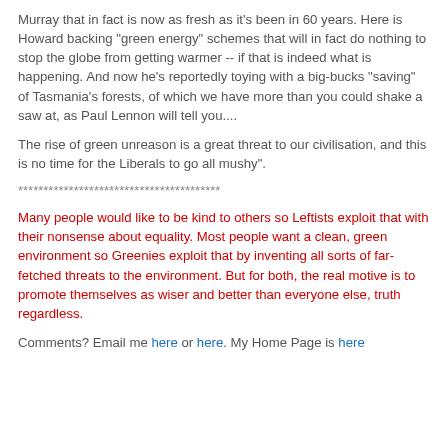Murray that in fact is now as fresh as it's been in 60 years. Here is Howard backing "green energy" schemes that will in fact do nothing to stop the globe from getting warmer -- if that is indeed what is happening. And now he's reportedly toying with a big-bucks "saving" of Tasmania's forests, of which we have more than you could shake a saw at, as Paul Lennon will tell you....
The rise of green unreason is a great threat to our civilisation, and this is no time for the Liberals to go all mushy".
****************************************
Many people would like to be kind to others so Leftists exploit that with their nonsense about equality. Most people want a clean, green environment so Greenies exploit that by inventing all sorts of far-fetched threats to the environment. But for both, the real motive is to promote themselves as wiser and better than everyone else, truth regardless.
Comments? Email me here or here. My Home Page is here